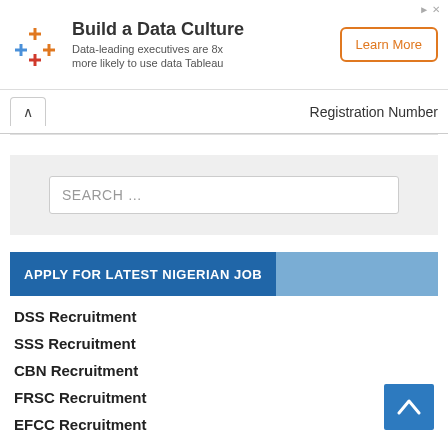[Figure (infographic): Advertisement banner: Tableau 'Build a Data Culture' ad with colorful cross/plus logo, tagline 'Data-leading executives are 8x more likely to use data Tableau', and an orange-bordered 'Learn More' button.]
Registration Number
SEARCH ...
APPLY FOR LATEST NIGERIAN JOB
DSS Recruitment
SSS Recruitment
CBN Recruitment
FRSC Recruitment
EFCC Recruitment